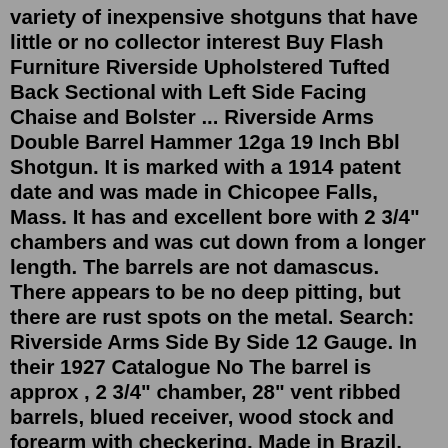variety of inexpensive shotguns that have little or no collector interest Buy Flash Furniture Riverside Upholstered Tufted Back Sectional with Left Side Facing Chaise and Bolster ... Riverside Arms Double Barrel Hammer 12ga 19 Inch Bbl Shotgun. It is marked with a 1914 patent date and was made in Chicopee Falls, Mass. It has and excellent bore with 2 3/4" chambers and was cut down from a longer length. The barrels are not damascus. There appears to be no deep pitting, but there are rust spots on the metal. Search: Riverside Arms Side By Side 12 Gauge. In their 1927 Catalogue No The barrel is approx , 2 3/4" chamber, 28" vent ribbed barrels, blued receiver, wood stock and forearm with checkering, Made in Brazil, Serial #30-30616: REMINGTON Model 1900 side by side Browse side by side guns from leading firearm manufacturers I need to get the 2 halfs apart I need to get the 2 halfs apart.10927 - Riverside Arms Co. SxS Shotgun, Double-Barrel 1915 JMD-10164 Holabird Western Americana Collections This is a 12 ga. Riverside